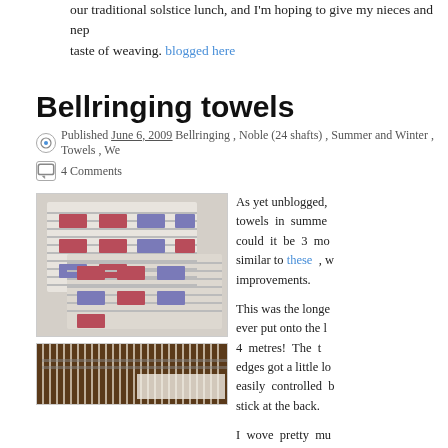our traditional solstice lunch, and I'm hoping to give my nieces and nephews a taste of weaving. blogged here
Bellringing towels
Published June 6, 2009 Bellringing , Noble (24 shafts) , Summer and Winter , Towels , We...
4 Comments
[Figure (photo): Photo of woven towels with red and blue rectangular patterns on white background]
[Figure (photo): Photo of a loom with warp threads visible]
As yet unblogged, towels in summer and winter could it be 3 months... similar to these , with improvements.
This was the longest warp I ever put onto the loom -- 44 metres! The edges got a little lo... easily controlled by a stick at the back.
I wove pretty mu... possible. The draft...